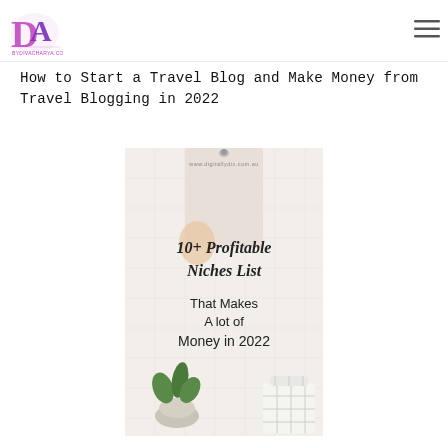BYDIVACHARYA.COM logo and navigation
How to Start a Travel Blog and Make Money from Travel Blogging in 2022
[Figure (photo): Promotional image from www.digitallydix.com.au showing '10+ Profitable Niches List That Makes A lot of Money in 2022' with scissors, a plant, and a wicker basket on a white tile background]